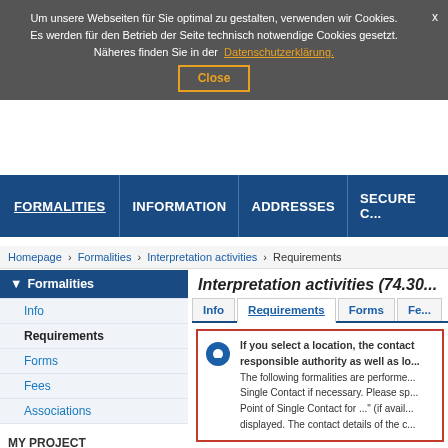Um unsere Webseiten für Sie optimal zu gestalten, verwenden wir Cookies. Es werden für den Betrieb der Seite technisch notwendige Cookies gesetzt. Näheres finden Sie in der Datenschutzerklärung.
Close
FORMALITIES | INFORMATION | ADDRESSES | SECURE O...
Homepage  Formalities  Interpretation activities  Requirements
Formalities
Info
Requirements
Forms
Fees
Associations
MY PROJECT
Nationality
Non-EU foreigner
Service
Interpretation activities
Interpretation activities (74.30...
Info  Requirements  Forms  Fe...
If you select a location, the contact responsible authority as well as lo...
The following formalities are performed Single Contact if necessary. Please s... Point of Single Contact for ..." (if avail... displayed. The contact details of the c...
Formalities relating to the empl...